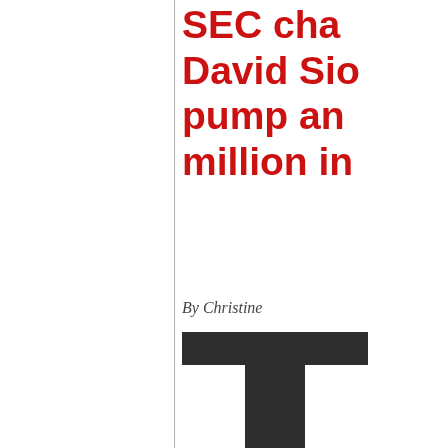SEC charges David Sic... pump and... million in...
By Christine...
T (drop cap initial letter)
generated...
In a parallel scheme, th... against ten... in the SEC... of the Hells...